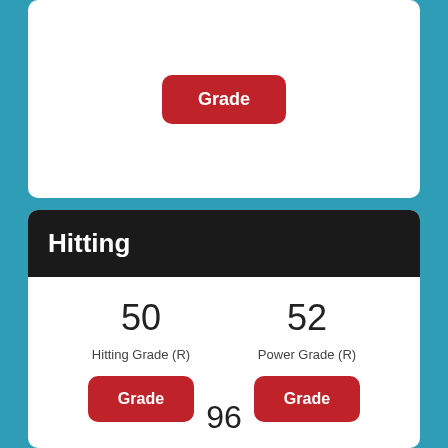[Figure (screenshot): Red Grade button on white card background]
Hitting
50
52
Hitting Grade (R)
Power Grade (R)
[Figure (screenshot): Red Grade button]
[Figure (screenshot): Red Grade button]
96